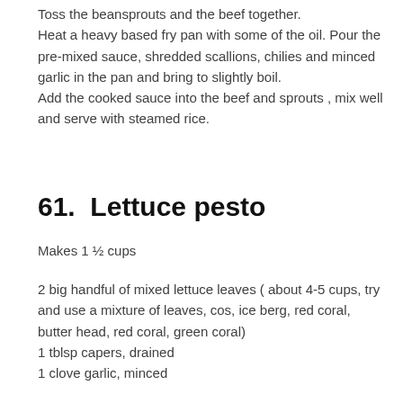Toss the beansprouts and the beef together.
Heat a heavy based fry pan with some of the oil. Pour the pre-mixed sauce, shredded scallions, chilies and minced garlic in the pan and bring to slightly boil.
Add the cooked sauce into the beef and sprouts , mix well and serve with steamed rice.
61.  Lettuce pesto
Makes 1 ½ cups
2 big handful of mixed lettuce leaves ( about 4-5 cups, try and use a mixture of leaves, cos, ice berg, red coral, butter head, red coral, green coral)
1 tblsp capers, drained
1 clove garlic, minced